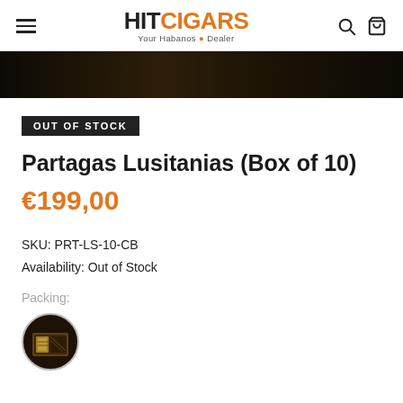HITCIGARS — Your Habanos Dealer
[Figure (photo): Dark hero strip showing partial view of cigar box product image]
OUT OF STOCK
Partagas Lusitanias (Box of 10)
€199,00
SKU: PRT-LS-10-CB
Availability: Out of Stock
Packing:
[Figure (photo): Small circular thumbnail image of Partagas cigar box with cigars inside, dark background with gold details]